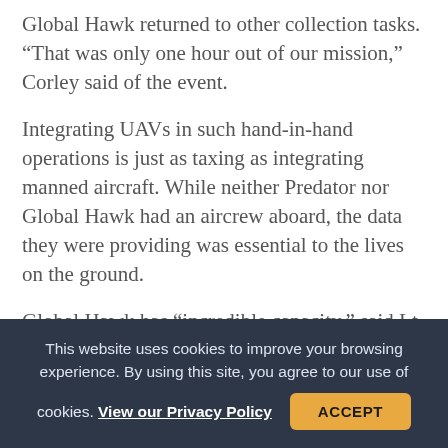Global Hawk returned to other collection tasks. “That was only one hour out of our mission,” Corley said of the event.
Integrating UAVs in such hand-in-hand operations is just as taxing as integrating manned aircraft. While neither Predator nor Global Hawk had an aircrew aboard, the data they were providing was essential to the lives on the ground.
Global Hawk has “incredible capacity,” said Lt. Col. John Johanson, who spent a year as
This website uses cookies to improve your browsing experience. By using this site, you agree to our use of cookies. View our Privacy Policy ACCEPT